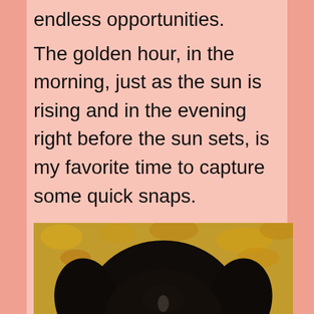endless opportunities.
The golden hour, in the morning, just as the sun is rising and in the evening right before the sun sets, is my favorite time to capture some quick snaps.
[Figure (photo): Close-up portrait of a large black dog with brown eyes and a white/grey muzzle, photographed against a blurred background of autumn leaves in golden-yellow tones.]